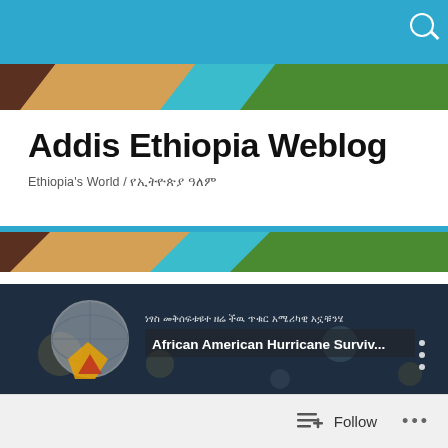Addis Ethiopia Weblog
Ethiopia's World / የኢትዮጵያ ዓለም
TAGGED WITH HURRICANE SANDY
Hurricane Survival: Ethiopian Angels Protected Me Over the Years
[Figure (screenshot): Video thumbnail showing African American Hurricane Survival content with Ethiopian flag graphic and Amharic/English text overlay]
Follow